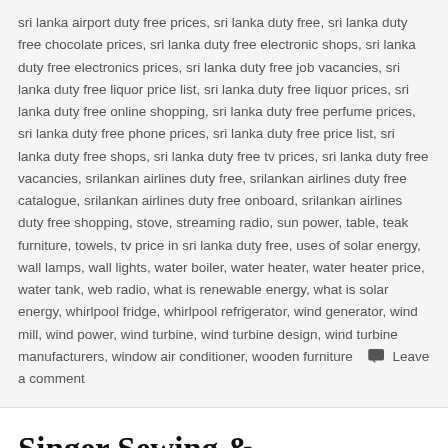sri lanka airport duty free prices, sri lanka duty free, sri lanka duty free chocolate prices, sri lanka duty free electronic shops, sri lanka duty free electronics prices, sri lanka duty free job vacancies, sri lanka duty free liquor price list, sri lanka duty free liquor prices, sri lanka duty free online shopping, sri lanka duty free perfume prices, sri lanka duty free phone prices, sri lanka duty free price list, sri lanka duty free shops, sri lanka duty free tv prices, sri lanka duty free vacancies, srilankan airlines duty free, srilankan airlines duty free catalogue, srilankan airlines duty free onboard, srilankan airlines duty free shopping, stove, streaming radio, sun power, table, teak furniture, towels, tv price in sri lanka duty free, uses of solar energy, wall lamps, wall lights, water boiler, water heater, water heater price, water tank, web radio, what is renewable energy, what is solar energy, whirlpool fridge, whirlpool refrigerator, wind generator, wind mill, wind power, wind turbine, wind turbine design, wind turbine manufacturers, window air conditioner, wooden furniture  Leave a comment
Singer Sewing & Embroidery Machine Price from Rs. 150,399/- Upwards